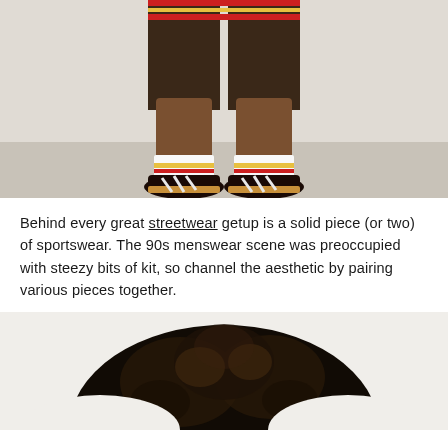[Figure (photo): Photo of a person's legs from mid-thigh down, wearing black basketball shorts with red and yellow stripes, white socks with yellow and red stripes, and black suede Adidas sneakers with white stripes and gum soles, standing on a concrete floor against a white/grey background.]
Behind every great streetwear getup is a solid piece (or two) of sportswear. The 90s menswear scene was preoccupied with steezy bits of kit, so channel the aesthetic by pairing various pieces together.
[Figure (photo): Close-up photo of the top of a person's head with voluminous curly/afro hair, dark brown/black, against a white background.]